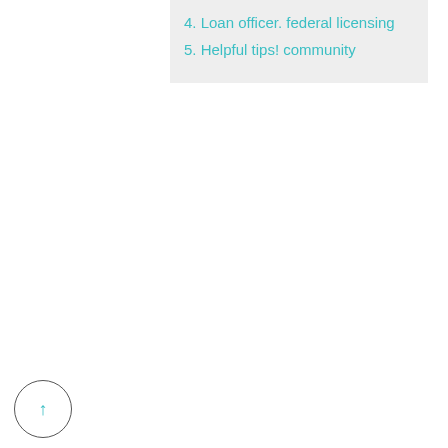4. Loan officer. federal licensing
5. Helpful tips! community